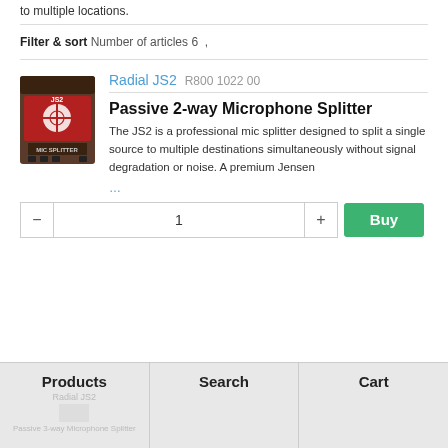to multiple locations.
Filter & sort  Number of articles 6
Radial JS2  R800 1022 00
[Figure (photo): Product photo of Radial JS2 Passive 2-way Microphone Splitter box with red label]
Passive 2-way Microphone Splitter
The JS2 is a professional mic splitter designed to split a single source to multiple destinations simultaneously without signal degradation or noise. A premium Jensen
...
1
Buy
Products   Search   Cart